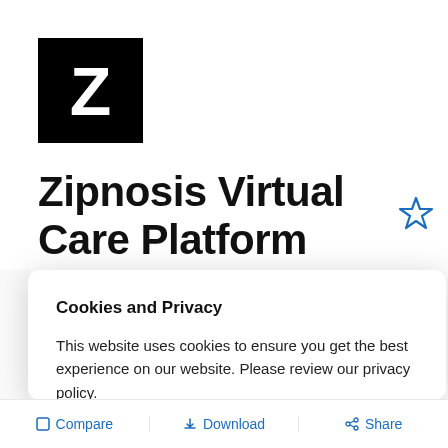[Figure (logo): Black square with white bold letter Z — Zipnosis logo]
Zipnosis Virtual Care Platform
Cookies and Privacy
This website uses cookies to ensure you get the best experience on our website. Please review our privacy policy.
Privacy policy   Accept
Compare   Download   Share